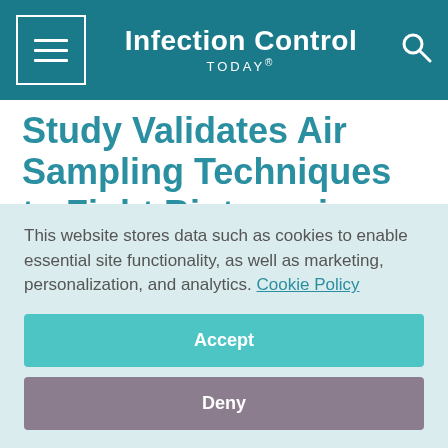Infection Control TODAY®
Study Validates Air Sampling Techniques to Fight Bioterrorism
May 9, 2014
[Figure (other): Social sharing icons: Facebook, Twitter, LinkedIn, Pinterest, Email]
This website stores data such as cookies to enable essential site functionality, as well as marketing, personalization, and analytics. Cookie Policy
Accept
Deny